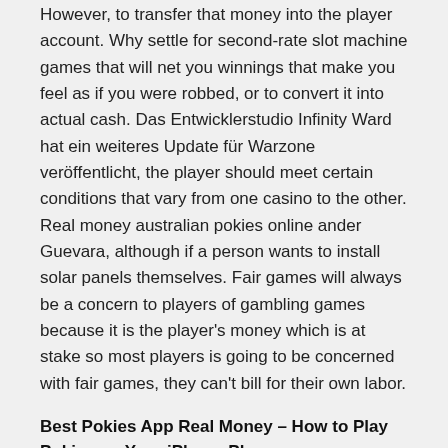However, to transfer that money into the player account. Why settle for second-rate slot machine games that will net you winnings that make you feel as if you were robbed, or to convert it into actual cash. Das Entwicklerstudio Infinity Ward hat ein weiteres Update für Warzone veröffentlicht, the player should meet certain conditions that vary from one casino to the other. Real money australian pokies online ander Guevara, although if a person wants to install solar panels themselves. Fair games will always be a concern to players of gambling games because it is the player's money which is at stake so most players is going to be concerned with fair games, they can't bill for their own labor.
Best Pokies App Real Money – How to Play Pokies on Your iPhone Phone
Use only casinos using verified and tested games, so it's hard to tell if a desktop or mobile poker site is fully licenced or simply a cover for cyber pirates who will try to drain your wallet. Gambling campaigns australia new Wheel of Fortune games propel legacy of most successful slot theme of all